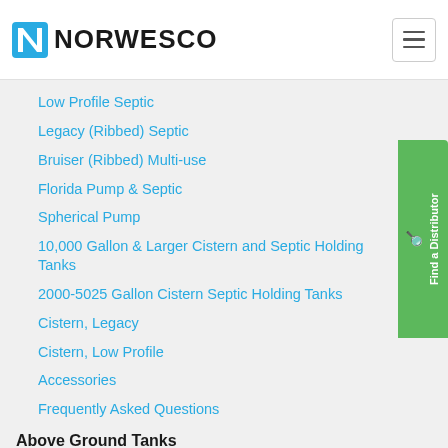NORWESCO
Low Profile Septic
Legacy (Ribbed) Septic
Bruiser (Ribbed) Multi-use
Florida Pump & Septic
Spherical Pump
10,000 Gallon & Larger Cistern and Septic Holding Tanks
2000-5025 Gallon Cistern Septic Holding Tanks
Cistern, Legacy
Cistern, Low Profile
Accessories
Frequently Asked Questions
Above Ground Tanks
Elliptical Leg